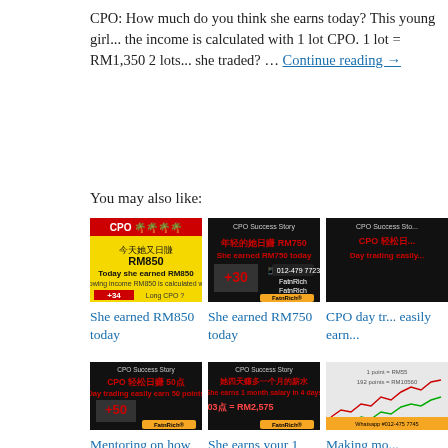CPO: How much do you think she earns today? This young girl... the income is calculated with 1 lot CPO. 1 lot = RM1,350 2 lots... she traded? … Continue reading →
You may also like:
[Figure (photo): CPO trading promotional image showing 今天她又日賺RM850 / Today she earned RM850, +34, Long CPO?]
She earned RM850 today
[Figure (photo): CPO Success Story - 年轻的她日赚 RM750 / She earned RM750 today, +30, FatnRich]
She earned RM750 today
[Figure (photo): CPO Success Story - CPO 轻松日... Day trading easily...]
CPO day tr... easily earn...
[Figure (photo): CPO Success Story - CPO 轻松日赚 50点 Day trading easily earn 50 points, +50, FatnRich]
Mentoring on how
[Figure (photo): CPO Success Story - 她四天赚多一个月的薪水 She earns your 1 month's salary in 4 days, 103点 = RM2,575, FatnRich]
She earns your 1
[Figure (photo): Trading chart screenshot with FatnRich branding]
Making mo...